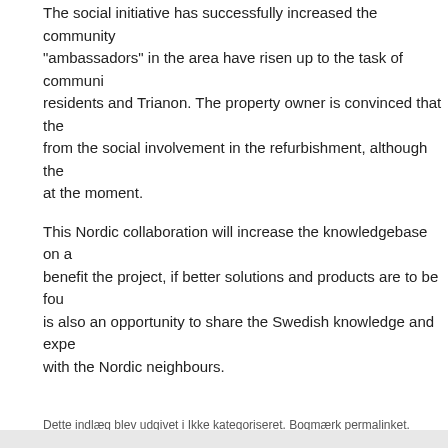The social initiative has successfully increased the community "ambassadors" in the area have risen up to the task of communic... residents and Trianon. The property owner is convinced that the... from the social involvement in the refurbishment, although the ... at the moment.
This Nordic collaboration will increase the knowledgebase on a... benefit the project, if better solutions and products are to be fou... is also an opportunity to share the Swedish knowledge and expe... with the Nordic neighbours.
Dette indlæg blev udgivet i Ikke kategoriseret. Bogmærk permalinket.
← Partner meeting in Oslo
Nordic Built Active Roofs and Facades